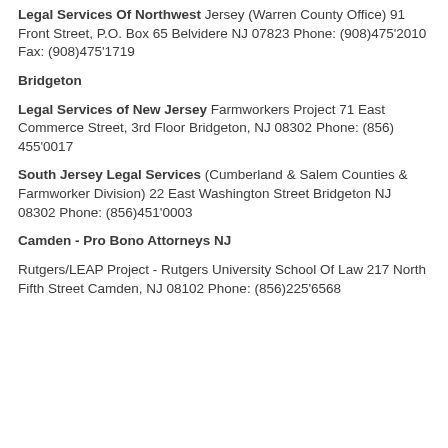Legal Services Of Northwest Jersey (Warren County Office) 91 Front Street, P.O. Box 65 Belvidere NJ 07823 Phone: (908)475'2010 Fax: (908)475'1719
Bridgeton
Legal Services of New Jersey Farmworkers Project 71 East Commerce Street, 3rd Floor Bridgeton, NJ 08302 Phone: (856) 455'0017
South Jersey Legal Services (Cumberland & Salem Counties & Farmworker Division) 22 East Washington Street Bridgeton NJ 08302 Phone: (856)451'0003
Camden - Pro Bono Attorneys NJ
Rutgers/LEAP Project - Rutgers University School Of Law 217 North Fifth Street Camden, NJ 08102 Phone: (856)225'6568